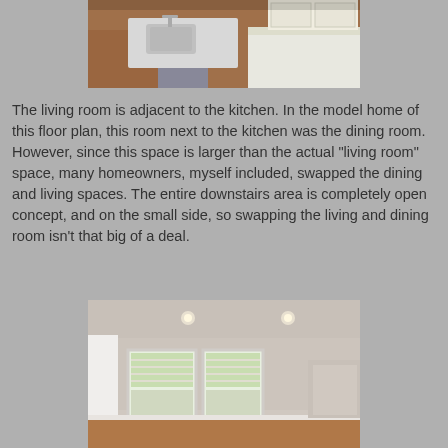[Figure (photo): Interior photo of a kitchen counter/island with a white sink and white cabinets on wood floors.]
The living room is adjacent to the kitchen.  In the model home of this floor plan, this room next to the kitchen was the dining room.  However, since this space is larger than the actual "living room" space, many homeowners, myself included, swapped the dining and living spaces.  The entire downstairs area is completely open concept, and on the small side, so swapping the living and dining room isn't that big of a deal.
[Figure (photo): Interior photo of an empty room with beige walls, recessed lighting, two windows with blinds, and hardwood floor.]